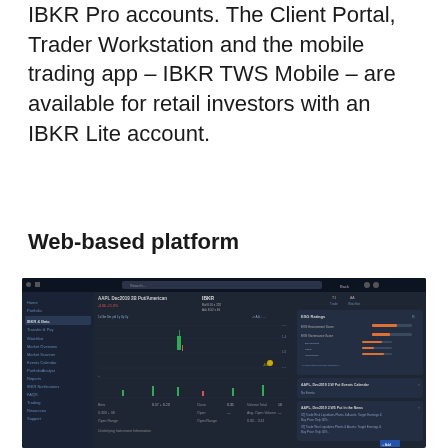All of these versions are available for IBKR Pro accounts. The Client Portal, Trader Workstation and the mobile trading app – IBKR TWS Mobile – are available for retail investors with an IBKR Lite account.
Web-based platform
[Figure (screenshot): Screenshot of IBKR Client Portal web-based trading platform showing a dark-themed interface with left navigation sidebar, a stock chart in the center, ESG Ratings panel on the right, and financial data rows at the bottom.]